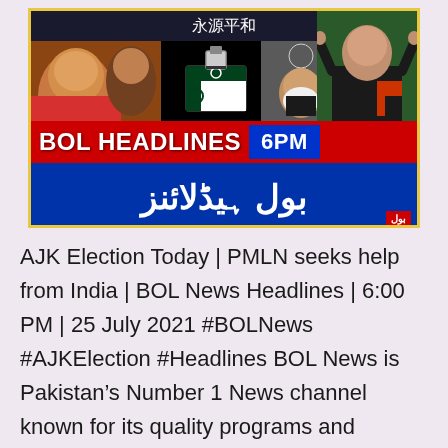[Figure (screenshot): BOL News Headlines thumbnail showing news broadcast graphics. Red banner with 'BOL HEADLINES 6PM' text, blue banner with Urdu text 'بول ہیڈلائنز', and political figures in the background.]
AJK Election Today | PMLN seeks help from India | BOL News Headlines | 6:00 PM | 25 July 2021 #BOLNews #AJKElection #Headlines BOL News is Pakistan's Number 1 News channel known for its quality programs and authentic news. It is Pakistan's most trusted channel that not only cover news and updates related to Pakistan,… Continue